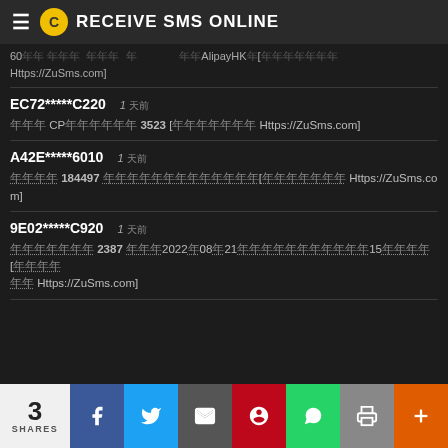RECEIVE SMS ONLINE
60年代 明星 她们 这 、、AlipayHK、[请登录 Https://ZuSms.com]
EC72*****C220   1 天前
你的 CP验证码是 3523 [请登录 Https://ZuSms.com]
A42E*****6010   1 天前
免费送 184497 这是验证码，请勿将其[请登录 Https://ZuSms.com]
9E02*****C920   1 天前
验证码是 2387 有全2022年08月21日失效，请勿将其提供给任何人15分钟[... Https://ZuSms.com]